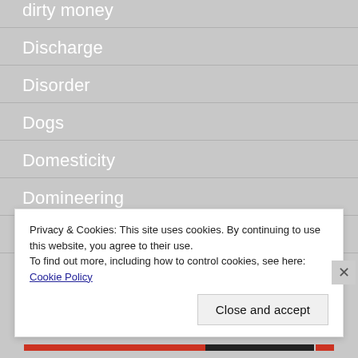dirty money
Discharge
Disorder
Dogs
Domesticity
Domineering
Dorset
Privacy & Cookies: This site uses cookies. By continuing to use this website, you agree to their use.
To find out more, including how to control cookies, see here: Cookie Policy
Close and accept